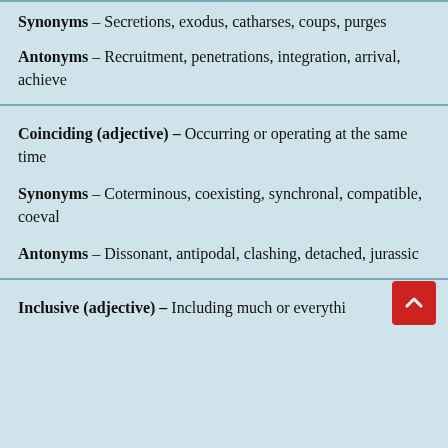Synonyms – Secretions, exodus, catharses, coups, purges
Antonyms – Recruitment, penetrations, integration, arrival, achieve
Coinciding (adjective) – Occurring or operating at the same time
Synonyms – Coterminous, coexisting, synchronal, compatible, coeval
Antonyms – Dissonant, antipodal, clashing, detached, jurassic
Inclusive (adjective) – Including much or everythi…